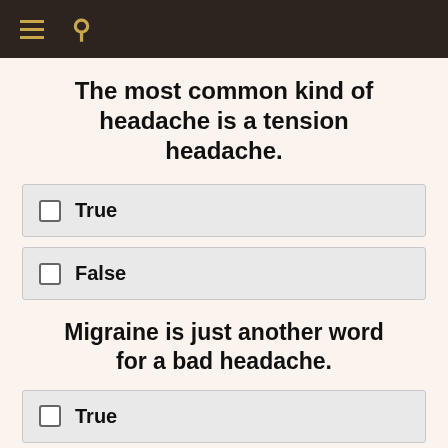≡ 🔍
The most common kind of headache is a tension headache.
True
False
Migraine is just another word for a bad headache.
True